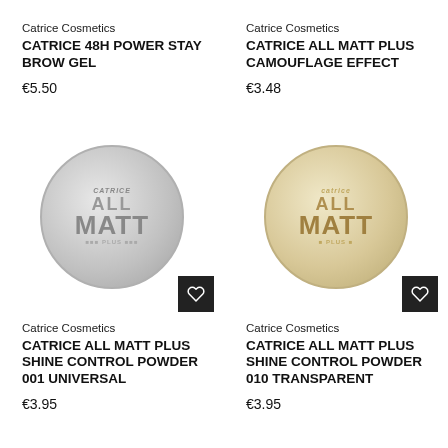Catrice Cosmetics
CATRICE 48H POWER STAY BROW GEL
€5.50
Catrice Cosmetics
CATRICE ALL MATT PLUS CAMOUFLAGE EFFECT
€3.48
[Figure (photo): Catrice All Matt Plus Shine Control Powder compact (silver/clear lid, white powder visible) with heart wishlist button]
Catrice Cosmetics
CATRICE ALL MATT PLUS SHINE CONTROL POWDER 001 UNIVERSAL
€3.95
[Figure (photo): Catrice All Matt Plus Shine Control Powder compact (beige/tan powder visible, clear lid) with heart wishlist button]
Catrice Cosmetics
CATRICE ALL MATT PLUS SHINE CONTROL POWDER 010 TRANSPARENT
€3.95